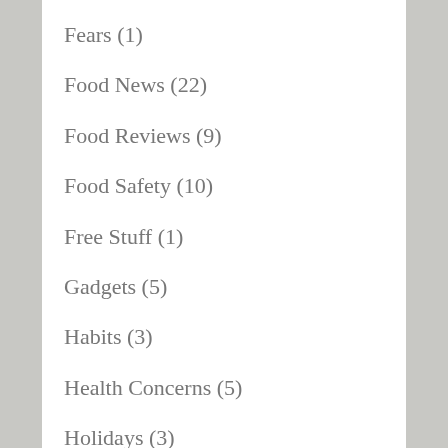Fears (1)
Food News (22)
Food Reviews (9)
Food Safety (10)
Free Stuff (1)
Gadgets (5)
Habits (3)
Health Concerns (5)
Holidays (3)
Hunger (7)
Hypnosis (1)
Junk Food (2)
Just for Fun (12)